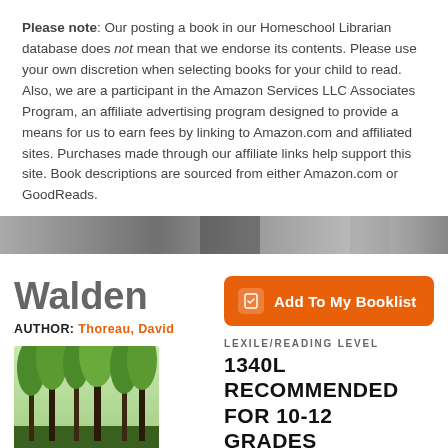Please note: Our posting a book in our Homeschool Librarian database does not mean that we endorse its contents. Please use your own discretion when selecting books for your child to read. Also, we are a participant in the Amazon Services LLC Associates Program, an affiliate advertising program designed to provide a means for us to earn fees by linking to Amazon.com and affiliated sites. Purchases made through our affiliate links help support this site. Book descriptions are sourced from either Amazon.com or GoodReads.
[Figure (photo): Grayscale banner photo of bookshelves or library background]
Walden
AUTHOR: Thoreau, David
[Figure (photo): Photo of tall trees with green foliage (book cover image for Walden)]
Add To My Booklist
LEXILE/READING LEVEL 1340L RECOMMENDED FOR 10-12 GRADES